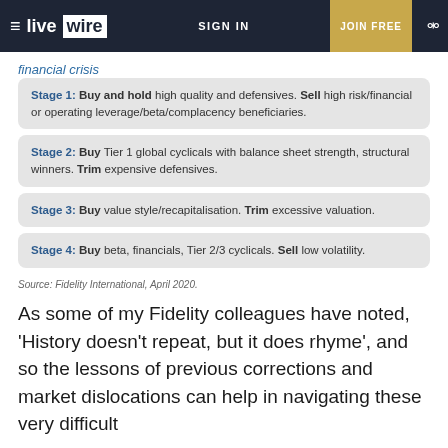live wire — SIGN IN — JOIN FREE
financial crisis
Stage 1: Buy and hold high quality and defensives. Sell high risk/financial or operating leverage/beta/complacency beneficiaries.
Stage 2: Buy Tier 1 global cyclicals with balance sheet strength, structural winners. Trim expensive defensives.
Stage 3: Buy value style/recapitalisation. Trim excessive valuation.
Stage 4: Buy beta, financials, Tier 2/3 cyclicals. Sell low volatility.
Source: Fidelity International, April 2020.
As some of my Fidelity colleagues have noted, 'History doesn't repeat, but it does rhyme', and so the lessons of previous corrections and market dislocations can help in navigating these very difficult